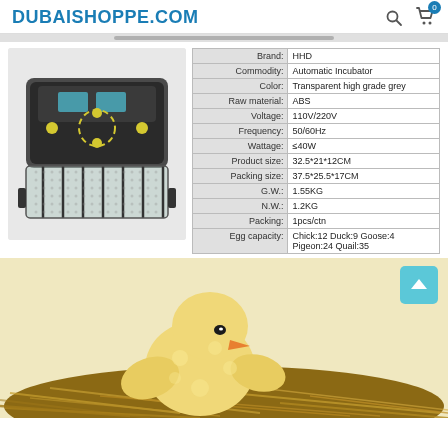DubaiShoppe.com
[Figure (photo): Product photo of HHD Automatic Egg Incubator, dark grey transparent body with digital display and yellow egg-turn indicators]
| Attribute | Value |
| --- | --- |
| Brand: | HHD |
| Commodity: | Automatic Incubator |
| Color: | Transparent high grade grey |
| Raw material: | ABS |
| Voltage: | 110V/220V |
| Frequency: | 50/60Hz |
| Wattage: | ≤40W |
| Product size: | 32.5*21*12CM |
| Packing size: | 37.5*25.5*17CM |
| G.W.: | 1.55KG |
| N.W.: | 1.2KG |
| Packing: | 1pcs/ctn |
| Egg capacity: | Chick:12 Duck:9 Goose:4
Pigeon:24 Quail:35 |
[Figure (photo): Photo of a baby chick sitting in a nest made of straw]